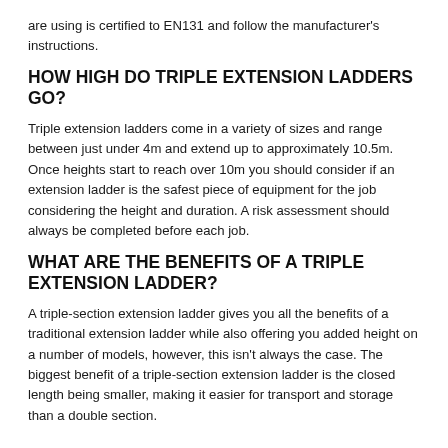are using is certified to EN131 and follow the manufacturer's instructions.
HOW HIGH DO TRIPLE EXTENSION LADDERS GO?
Triple extension ladders come in a variety of sizes and range between just under 4m and extend up to approximately 10.5m. Once heights start to reach over 10m you should consider if an extension ladder is the safest piece of equipment for the job considering the height and duration. A risk assessment should always be completed before each job.
WHAT ARE THE BENEFITS OF A TRIPLE EXTENSION LADDER?
A triple-section extension ladder gives you all the benefits of a traditional extension ladder while also offering you added height on a number of models, however, this isn't always the case. The biggest benefit of a triple-section extension ladder is the closed length being smaller, making it easier for transport and storage than a double section.